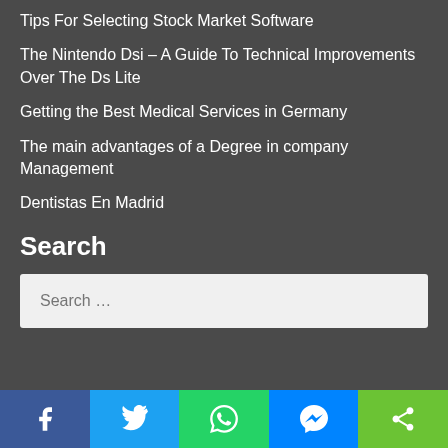Tips For Selecting Stock Market Software
The Nintendo Dsi – A Guide To Technical Improvements Over The Ds Lite
Getting the Best Medical Services in Germany
The main advantages of a Degree in company Management
Dentistas En Madrid
Search
Search …